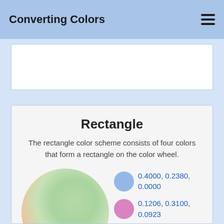Converting Colors
[Figure (other): Partial white card at top]
Rectangle
The rectangle color scheme consists of four colors that form a rectangle on the color wheel.
[Figure (illustration): Large circle with green-to-peach-to-purple radial gradient representing the color wheel region]
0.4000, 0.2380, 0.0000
0.1206, 0.3100, 0.0923
0.1684, 0.2521,